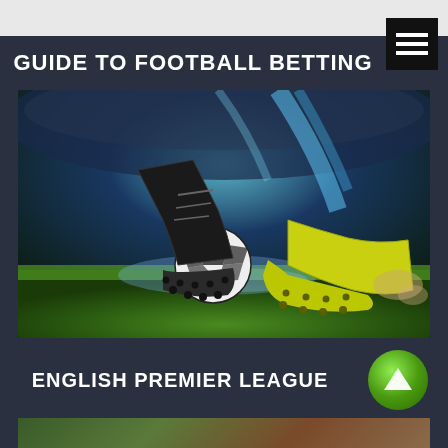GUIDE TO FOOTBALL BETTING
[Figure (photo): Action photo of football players' boots clashing over a soccer ball on wet grass with stadium lights and green/blue dramatic lighting in the background]
ENGLISH PREMIER LEAGUE
[Figure (photo): Partial bottom strip showing beginning of another football image]